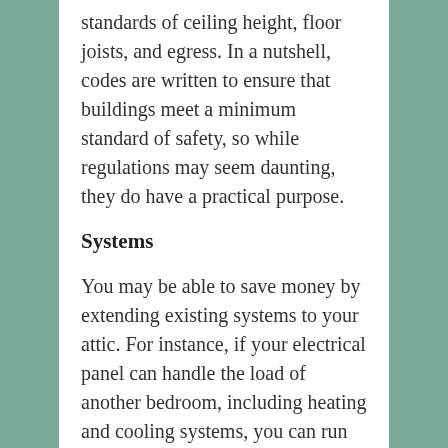standards of ceiling height, floor joists, and egress. In a nutshell, codes are written to ensure that buildings meet a minimum standard of safety, so while regulations may seem daunting, they do have a practical purpose.
Systems
You may be able to save money by extending existing systems to your attic. For instance, if your electrical panel can handle the load of another bedroom, including heating and cooling systems, you can run wires